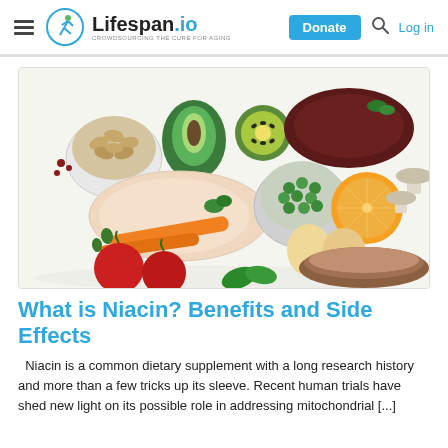Lifespan.io — CROWDSOURCING THE CURE FOR AGING | Donate | Log in
[Figure (photo): Flat lay of various niacin-rich foods: almonds in a bowl, avocado, kiwi, chicken breast, peas in a bowl, eggs, carrots, tomatoes, orange, mushrooms, liver, and bread on a white surface.]
What is Niacin? Benefits and Side Effects
Niacin is a common dietary supplement with a long research history and more than a few tricks up its sleeve. Recent human trials have shed new light on its possible role in addressing mitochondrial [...]